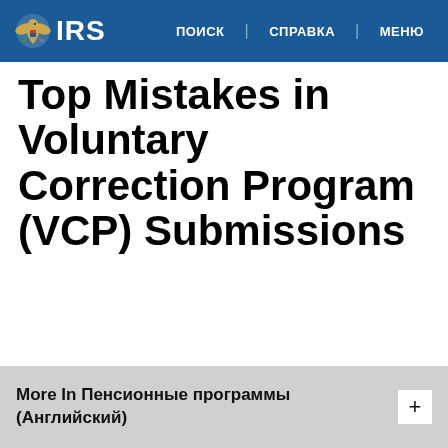IRS | ПОИСК | СПРАВКА | МЕНЮ
Top Mistakes in Voluntary Correction Program (VCP) Submissions
More In Пенсионные программы (Английский)